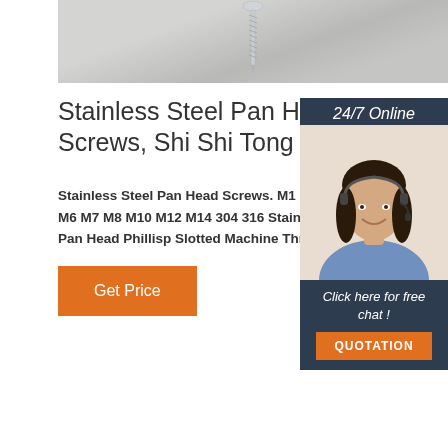[Figure (photo): Close-up photo of a stainless steel screw against a light gray/white textured background]
Stainless Steel Pan Head Screws, Shi Shi Tong
Stainless Steel Pan Head Screws. M1 M2 M M6 M7 M8 M10 M12 M14 304 316 Stainless Pan Head Phillisp Slotted Machine Thread S
[Figure (photo): Customer service representative woman with headset, 24/7 Online chat widget with QUOTATION button]
Get Price